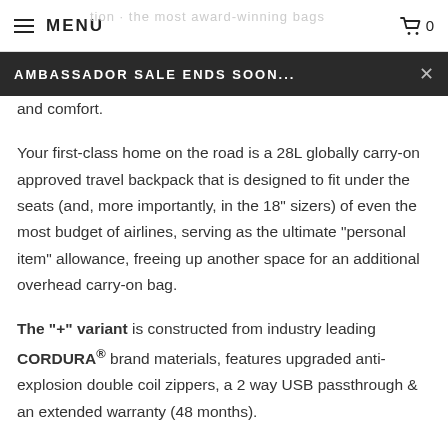MENU  [cart] 0
AMBASSADOR SALE ENDS SOON...
and comfort.
Your first-class home on the road is a 28L globally carry-on approved travel backpack that is designed to fit under the seats (and, more importantly, in the 18" sizers) of even the most budget of airlines, serving as the ultimate "personal item" allowance, freeing up another space for an additional overhead carry-on bag.
The "+" variant is constructed from industry leading CORDURA® brand materials, features upgraded anti-explosion double coil zippers, a 2 way USB passthrough & an extended warranty (48 months).
Maximize your carryon allowance on budget airlines